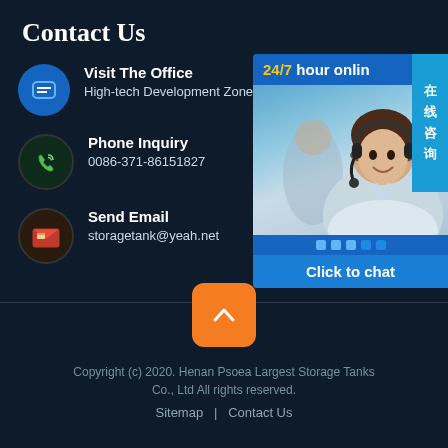Contact Us
Visit The Office
High-tech Development Zone
Phone Inquiry
0086-371-86151827
Send Email
storagetank@yeah.net
[Figure (screenshot): 24/7 hour online chat widget with customer service representative photo and 'Click to chat' button. Side label in Chinese: 在线咨询]
Copyright (c) 2020. Henan Psoea Largest Storage Tanks Co., Ltd All rights reserved.
Sitemap  |  Contact Us